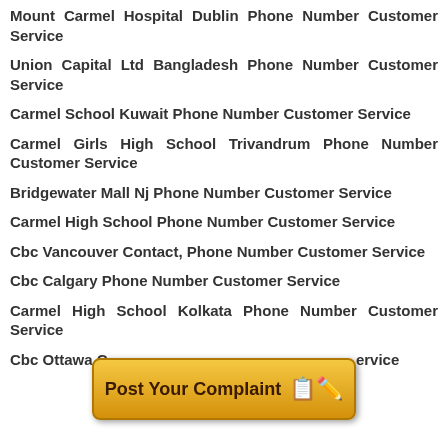Mount Carmel Hospital Dublin Phone Number Customer Service
Union Capital Ltd Bangladesh Phone Number Customer Service
Carmel School Kuwait Phone Number Customer Service
Carmel Girls High School Trivandrum Phone Number Customer Service
Bridgewater Mall Nj Phone Number Customer Service
Carmel High School Phone Number Customer Service
Cbc Vancouver Contact, Phone Number Customer Service
Cbc Calgary Phone Number Customer Service
Carmel High School Kolkata Phone Number Customer Service
Cbc Ottawa Contact, Phone Number Customer Service
[Figure (infographic): Orange/yellow gradient button with text 'Post Your Complaint' and a notepad with pencil icon]